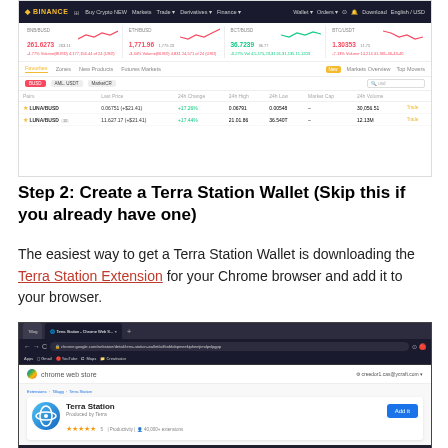[Figure (screenshot): Binance exchange website screenshot showing ticker prices for BNB/BUSD, ETH/BUSD, BCT/BUSD, BTC/USDT and a market table with LUNA/BUSD and LUNA/BUSD listings]
Step 2: Create a Terra Station Wallet (Skip this if you already have one)
The easiest way to get a Terra Station Wallet is downloading the Terra Station Extension for your Chrome browser and add it to your browser.
[Figure (screenshot): Chrome Web Store page showing Terra Station extension with Add to Chrome button, 4.5 star rating, Productivity badge, and 40,000+ users]